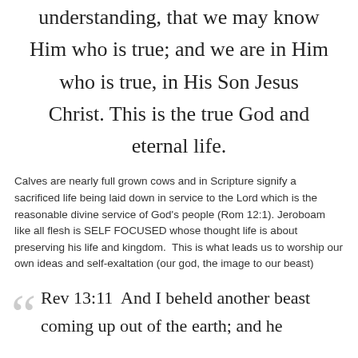understanding, that we may know Him who is true; and we are in Him who is true, in His Son Jesus Christ. This is the true God and eternal life.
Calves are nearly full grown cows and in Scripture signify a sacrificed life being laid down in service to the Lord which is the reasonable divine service of God’s people (Rom 12:1). Jeroboam like all flesh is SELF FOCUSED whose thought life is about preserving his life and kingdom. This is what leads us to worship our own ideas and self-exaltation (our god, the image to our beast)
Rev 13:11 And I beheld another beast coming up out of the earth; and he